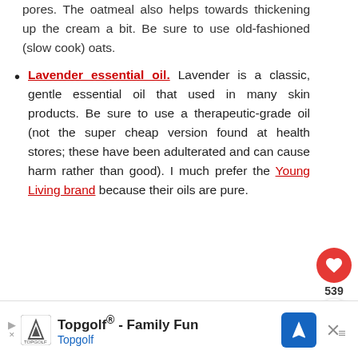pores. The oatmeal also helps towards thickening up the cream a bit. Be sure to use old-fashioned (slow cook) oats.
Lavender essential oil. Lavender is a classic, gentle essential oil that used in many skin products. Be sure to use a therapeutic-grade oil (not the super cheap version found at health stores; these have been adulterated and can cause harm rather than good). I much prefer the Young Living brand because their oils are pure.
[Figure (other): Heart (favorite) button with count 539 and share button]
[Figure (other): What's Next widget showing Homemade All-natural...]
Topgolf® - Family Fun Topgolf advertisement banner